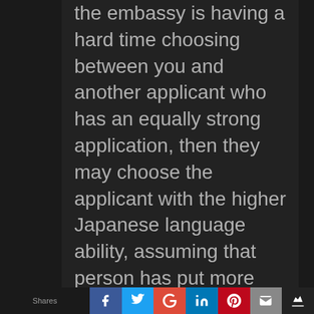the embassy is having a hard time choosing between you and another applicant who has an equally strong application, then they may choose the applicant with the higher Japanese language ability, assuming that person has put more effort and interest into learning about Japan and is better suited to help become a bridge between the cultures.
However, I don't think this will be a significant factor, at least not compared to your grades from your previous degree and the strength of your Field of Study and Research Program Plan.
The most important thing with the
Shares